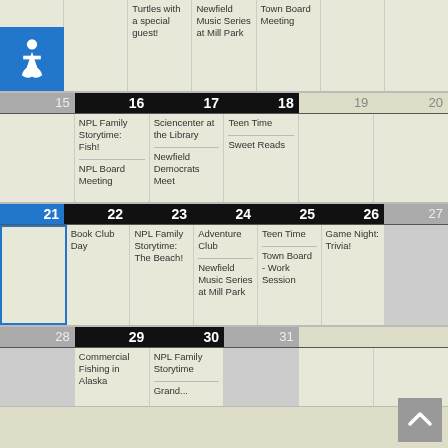| Sun | Mon | Tue | Wed | Thu | Fri | Sat |
| --- | --- | --- | --- | --- | --- | --- |
|  |  | Turtles with a special guest! | Newfield Music Series at Mill Park | Town Board Meeting |  |  |
| 15 | 16 | 17 | 18 | 19 | 20 |  |
|  | NPL Family Storytime: Fish!
NPL Board Meeting | Sciencenter at the Library
Newfield Democrats Meet | Teen Time
Sweet Reads |  |  |  |
| 21 | 22 | 23 | 24 | 25 | 26 | 27 |
|  | Book Club Day | NPL Family Storytime: The Beach! | Adventure Club
Newfield Music Series at Mill Park | Teen Time
Town Board - Work Session | Game Night: Trivia! |  |
| 28 | 29 | 30 | 31 |  |  |  |
|  | Commercial Fishing in Alaska | NPL Family Storytime
Grand... |  |  |  |  |